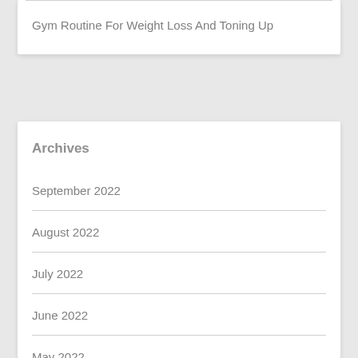Gym Routine For Weight Loss And Toning Up
Archives
September 2022
August 2022
July 2022
June 2022
May 2022
April 2022